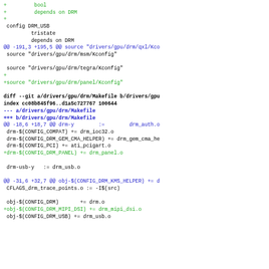diff output showing changes to drivers/gpu/drm/Kconfig and Makefile, including additions of DRM_USB config, panel/Kconfig source, drm_panel.o and drm_mipi_dsi.o build targets